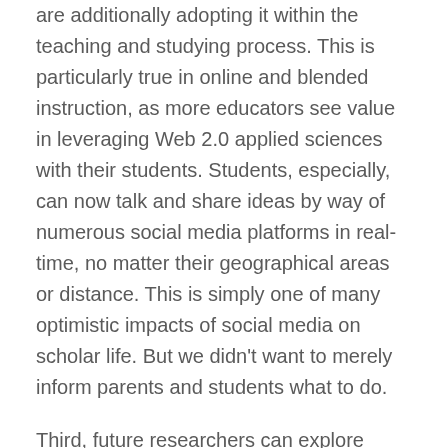are additionally adopting it within the teaching and studying process. This is particularly true in online and blended instruction, as more educators see value in leveraging Web 2.0 applied sciences with their students. Students, especially, can now talk and share ideas by way of numerous social media platforms in real-time, no matter their geographical areas or distance. This is simply one of many optimistic impacts of social media on scholar life. But we didn't want to merely inform parents and students what to do.
Third, future researchers can explore other ultimate outcomes of social media usage by college students, similar to well-being and profession exploration. Fourth, we tested cyberbullying because the boundary condition in our model; future researchers can determine some other moderating variables in this model. A moderating variable at the second stage of our mannequin can be of nice value. Finally, as we performed our study in a single nation , testing of our mannequin in other contexts, international locations, and cultures can generate different findings. Future researchers